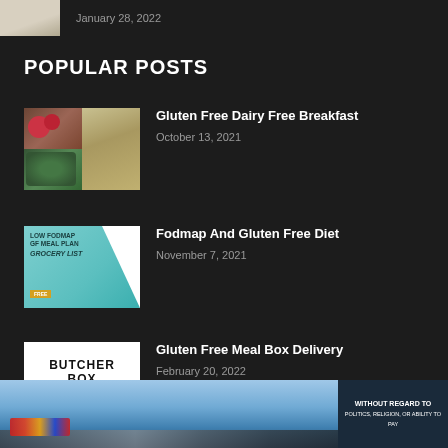January 28, 2022
POPULAR POSTS
[Figure (photo): Thumbnail image of gluten free dairy free breakfast food items including cookies and strawberries]
Gluten Free Dairy Free Breakfast
October 13, 2021
[Figure (photo): Low FODMAP GF Meal Plan Grocery List promotional image with teal background]
Fodmap And Gluten Free Diet
November 7, 2021
[Figure (photo): ButcherBox logo with text: NATURALLY RAISED 100% GRASS FED BEEF]
Gluten Free Meal Box Delivery
February 20, 2022
[Figure (photo): Advertisement banner showing airplanes and cargo with text WITHOUT REGARD TO (additional text partially visible)]